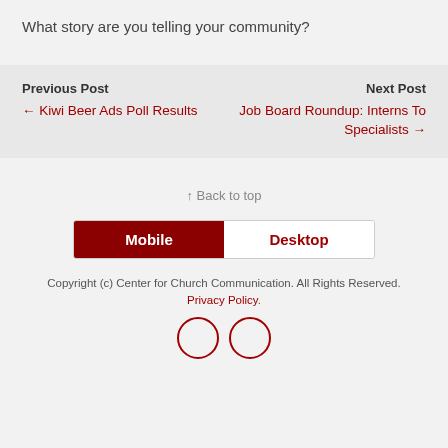What story are you telling your community?
Previous Post
← Kiwi Beer Ads Poll Results
Next Post
Job Board Roundup: Interns To Specialists →
↑ Back to top
Mobile | Desktop (toggle)
Copyright (c) Center for Church Communication. All Rights Reserved. Privacy Policy.